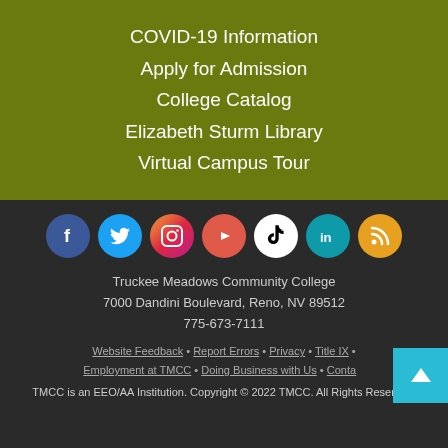COVID-19 Information
Apply for Admission
College Catalog
Elizabeth Sturm Library
Virtual Campus Tour
[Figure (infographic): Row of social media icons: Facebook (blue circle), Twitter (light blue circle), Instagram (gradient purple-orange circle), YouTube (red circle), TikTok (white circle with black logo), LinkedIn (teal circle), RSS (orange circle)]
Truckee Meadows Community College
7000 Dandini Boulevard, Reno, NV 89512
775-673-7111
Website Feedback • Report Errors • Privacy • Title IX • Employment at TMCC • Doing Business with Us • Contact
TMCC is an EEO/AA Institution. Copyright © 2022 TMCC. All Rights Reserved.